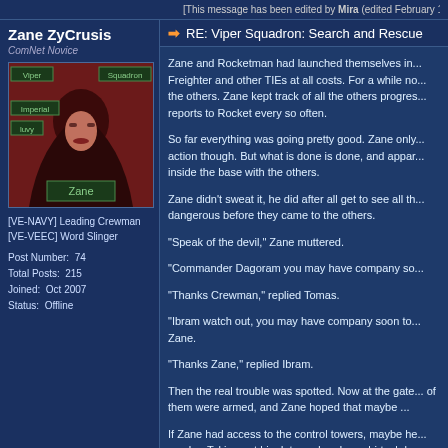[This message has been edited by Mira (edited February 1...
Zane ZyCrusis
ComNet Novice
[Figure (photo): Avatar image of a hooded figure with 'Viper Squadron', 'Imperial', 'Luvy', and 'Zane' labels overlaid on a dark red background]
[VE-NAVY] Leading Crewman
[VE-VEEC] Word Slinger
Post Number:  74
Total Posts:  215
Joined:  Oct 2007
Status:  Offline
RE: Viper Squadron: Search and Rescue
Zane and Rocketman had launched themselves in... Freighter and other TIEs at all costs. For a while no... the others. Zane kept track of all the others progres... reports to Rocket every so often.
So far everything was going pretty good. Zane only... action though. But what is done is done, and appar... inside the base with the others.
Zane didn't sweat it, he did after all get to see all th... dangerous before they came to the others.
"Speak of the devil," Zane muttered.
"Commander Dagoram you may have company so...
"Thanks Crewman," replied Tomas.
"Ibram watch out, you may have company soon to... Zane.
"Thanks Zane," replied Ibram.
Then the real trouble was spotted. Now at the gate... of them were armed, and Zane hoped that maybe ...
If Zane had access to the control towers, maybe he... maybe. Taking out his data-pad and own hi-tech la... capabilities, and a couple other things so that...